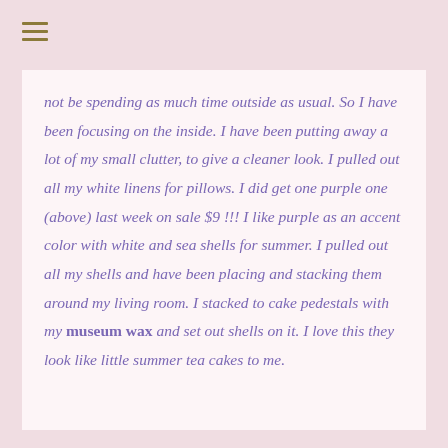≡
not be spending as much time outside as usual. So I have been focusing on the inside. I have been putting away a lot of my small clutter, to give a cleaner look. I pulled out all my white linens for pillows. I did get one purple one (above) last week on sale $9 !!! I like purple as an accent color with white and sea shells for summer. I pulled out all my shells and have been placing and stacking them around my living room. I stacked to cake pedestals with my museum wax and set out shells on it. I love this they look like little summer tea cakes to me.